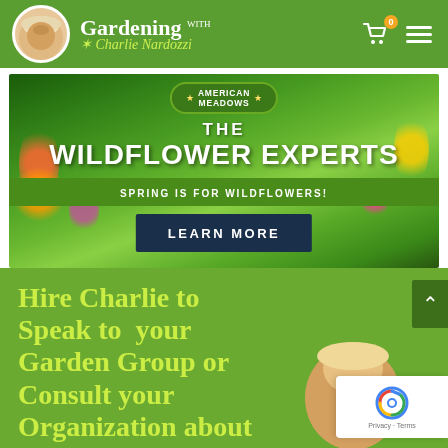Gardening with Charlie Nardozzi
[Figure (screenshot): American Meadows advertisement banner: wildflower meadow background with text 'THE WILDFLOWER EXPERTS', 'SPRING IS FOR WILDFLOWERS!', and 'LEARN MORE' button]
Hire Charlie to Speak to your Garden Group or Consult your Organization about